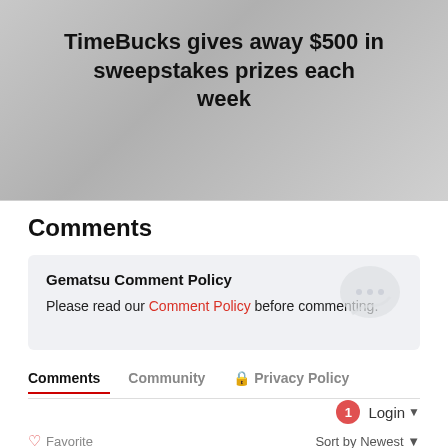[Figure (illustration): Banner advertisement for TimeBucks sweepstakes showing money/cash imagery in the background with bold text overlay]
TimeBucks gives away $500 in sweepstakes prizes each week
Comments
Gematsu Comment Policy
Please read our Comment Policy before commenting.
Comments  Community  Privacy Policy
1  Login
Favorite  Sort by Newest
Join the discussion...